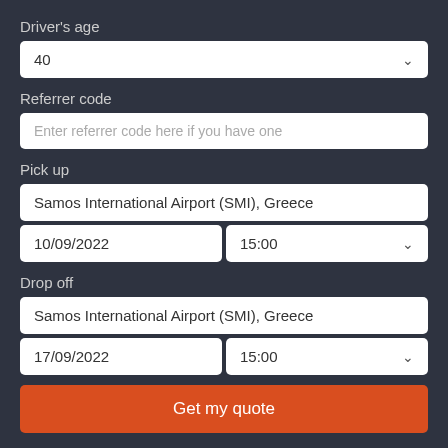Driver's age
40
Referrer code
Enter referrer code here if you have one
Pick up
Samos International Airport (SMI), Greece
10/09/2022
15:00
Drop off
Samos International Airport (SMI), Greece
17/09/2022
15:00
Get my quote